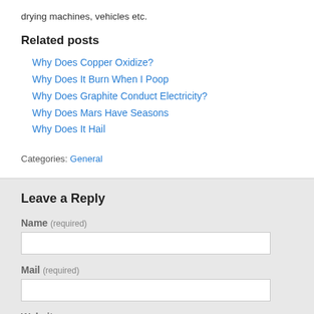drying machines, vehicles etc.
Related posts
Why Does Copper Oxidize?
Why Does It Burn When I Poop
Why Does Graphite Conduct Electricity?
Why Does Mars Have Seasons
Why Does It Hail
Categories: General
Leave a Reply
Name (required)
Mail (required)
Website